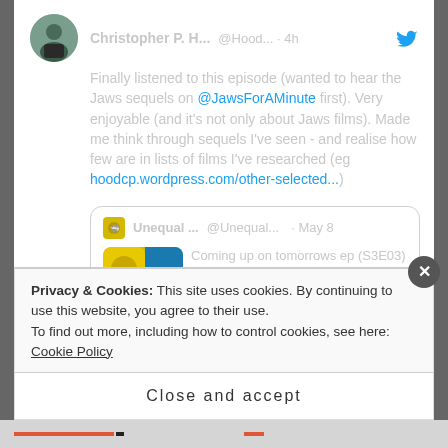[Figure (screenshot): Screenshot of a Twitter/social media page showing a tweet by Christopher P. H... (@Hood...) posted 4h ago. The tweet reads: 'Finally listened to this episode (wanted to hear the Jaws sequels on @JawsForAMinute first). Very enjoyable (and it's not only about Jaws films). Made me think through sequels I've seen - and realise how few are in lists of films I've researched (eg hoodcp.wordpress.com/other-selected...' with an embedded quoted tweet from Unequal... (@Unequal...) posted May 8 saying 'Coming up on tomorrows ep (S3E03) is the fab moderator and film writer...' A cookie consent banner overlays the bottom: 'Privacy & Cookies: This site uses cookies. By continuing to use this website, you agree to their use. To find out more, including how to control cookies, see here: Cookie Policy' and a 'Close and accept' button.]